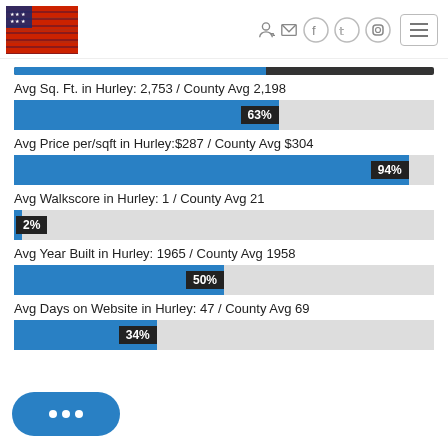[Figure (screenshot): Website header with US flag logo on left, social media icons (login, mail, facebook, twitter, instagram) on upper right, and hamburger menu button on right]
[Figure (bar-chart): Avg Sq. Ft. in Hurley: 2,753 / County Avg 2,198]
[Figure (bar-chart): Avg Price per/sqft in Hurley:$287 / County Avg $304]
[Figure (bar-chart): Avg Walkscore in Hurley: 1 / County Avg 21]
[Figure (bar-chart): Avg Year Built in Hurley: 1965 / County Avg 1958]
[Figure (bar-chart): Avg Days on Website in Hurley: 47 / County Avg 69]